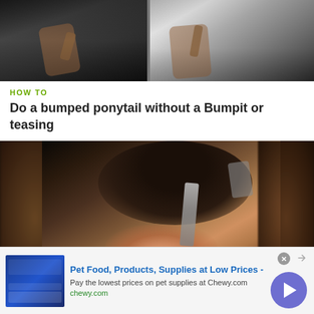[Figure (photo): Two side-by-side video stills showing a person in black demonstrating a hair technique, with hands raised near their head.]
HOW TO
Do a bumped ponytail without a Bumpit or teasing
[Figure (photo): Video still showing a close-up of hair being styled with tools, with blurred background showing salon equipment.]
Pet Food, Products, Supplies at Low Prices -
Pay the lowest prices on pet supplies at Chewy.com
chewy.com